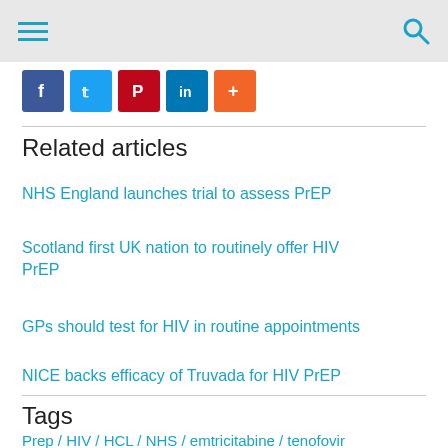Navigation bar with hamburger menu and search icon
[Figure (other): Social media share buttons: Facebook, Twitter, Pinterest, LinkedIn, More]
Related articles
NHS England launches trial to assess PrEP
Scotland first UK nation to routinely offer HIV PrEP
GPs should test for HIV in routine appointments
NICE backs efficacy of Truvada for HIV PrEP
Tags
Prep / HIV / HCL / NHS / emtricitabine / tenofovir